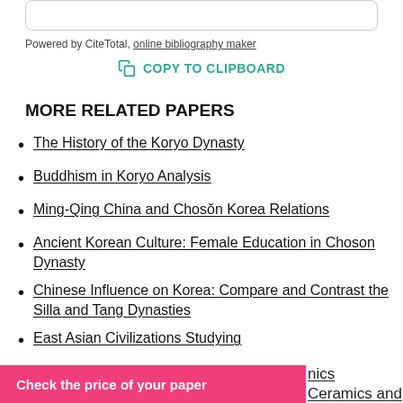Powered by CiteTotal, online bibliography maker
COPY TO CLIPBOARD
MORE RELATED PAPERS
The History of the Koryo Dynasty
Buddhism in Koryo Analysis
Ming-Qing China and Chosŏn Korea Relations
Ancient Korean Culture: Female Education in Choson Dynasty
Chinese Influence on Korea: Compare and Contrast the Silla and Tang Dynasties
East Asian Civilizations Studying
Check the price of your paper
nics
Ceramics and